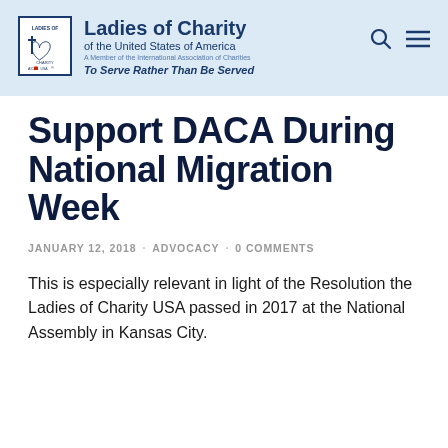Ladies of Charity of the United States of America — A Member of the International Association of Charities — To Serve Rather Than Be Served
Support DACA During National Migration Week
JANUARY 12, 2018 · ADVOCACY · 0 COMMENTS
This is especially relevant in light of the Resolution the Ladies of Charity USA passed in 2017 at the National Assembly in Kansas City.